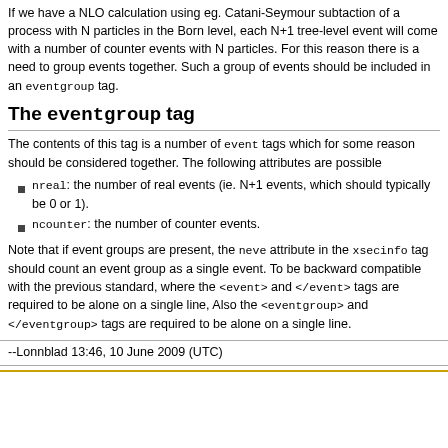If we have a NLO calculation using eg. Catani-Seymour subtaction of a process with N particles in the Born level, each N+1 tree-level event will come with a number of counter events with N particles. For this reason there is a need to group events together. Such a group of events should be included in an eventgroup tag.
The eventgroup tag
The contents of this tag is a number of event tags which for some reason should be considered together. The following attributes are possible
nreal: the number of real events (ie. N+1 events, which should typically be 0 or 1).
ncounter: the number of counter events.
Note that if event groups are present, the neve attribute in the xsecinfo tag should count an event group as a single event. To be backward compatible with the previous standard, where the <event> and </event> tags are required to be alone on a single line, Also the <eventgroup> and </eventgroup> tags are required to be alone on a single line.
--Lonnblad 13:46, 10 June 2009 (UTC)